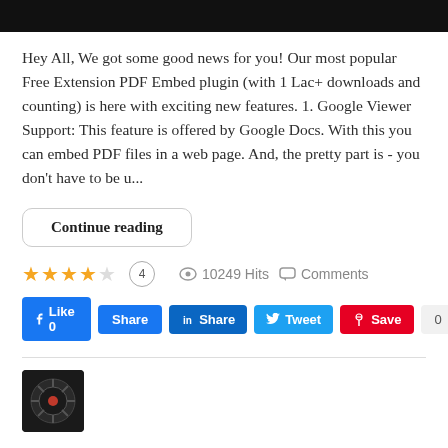Hey All, We got some good news for you! Our most popular Free Extension PDF Embed plugin (with 1 Lac+ downloads and counting) is here with exciting new features. 1. Google Viewer Support: This feature is offered by Google Docs. With this you can embed PDF files in a web page. And, the pretty part is - you don't have to be u...
Continue reading
★★★★☆ 4   👁 10249 Hits   💬 Comments
👍 Like 0   Share   in Share   Tweet   🅟 Save   0
[Figure (photo): Thumbnail image with dark circular/gear-like graphic on black background]